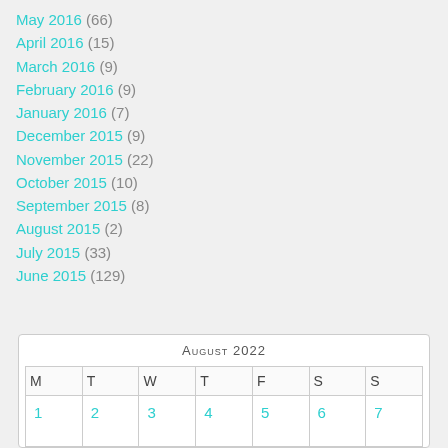May 2016 (66)
April 2016 (15)
March 2016 (9)
February 2016 (9)
January 2016 (7)
December 2015 (9)
November 2015 (22)
October 2015 (10)
September 2015 (8)
August 2015 (2)
July 2015 (33)
June 2015 (129)
| M | T | W | T | F | S | S |
| --- | --- | --- | --- | --- | --- | --- |
| 1 | 2 | 3 | 4 | 5 | 6 | 7 |